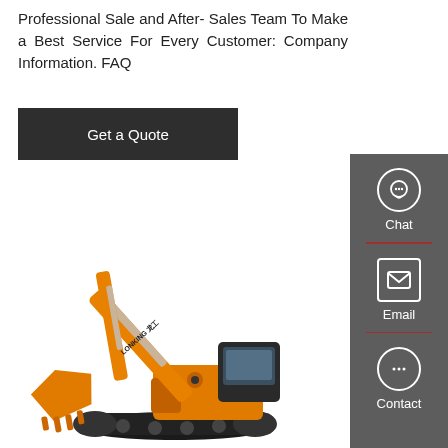Professional Sale and After- Sales Team To Make a Best Service For Every Customer: Company Information. FAQ
Get a Quote
[Figure (photo): Lonking brand orange excavator/crawler hydraulic excavator on white background]
[Figure (infographic): Right sidebar with Chat, Email, and Contact icons on dark grey background with red dividers]